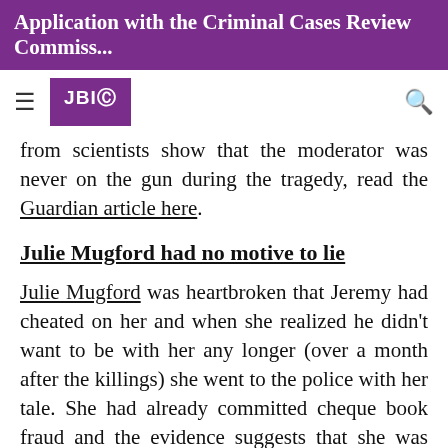Application with the Criminal Cases Review Commiss...
[Figure (logo): JBIO logo - white text on purple background with circular icon]
from scientists show that the moderator was never on the gun during the tragedy, read the Guardian article here.
Julie Mugford had no motive to lie
Julie Mugford was heartbroken that Jeremy had cheated on her and when she realized he didn't want to be with her any longer (over a month after the killings) she went to the police with her tale. She had already committed cheque book fraud and the evidence suggests that she was given immunity from prosecution in exchange for her testimony. An investigation into this deal was carried out, the allegation was denied and